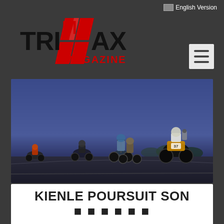English Version
[Figure (logo): TRIMAX MAGAZINE logo with red diagonal stripe graphic and bold black/red text]
[Figure (photo): Triathlon cycling photo showing cyclists and escort motorcycles on a road at dusk/dawn with blue sky background]
KIENLE POURSUIT SON